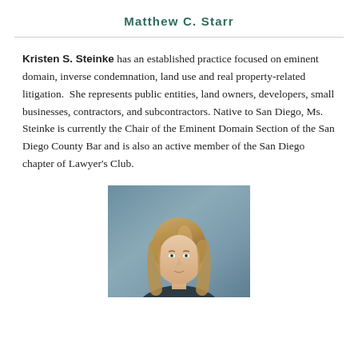Matthew C. Starr
Kristen S. Steinke has an established practice focused on eminent domain, inverse condemnation, land use and real property-related litigation.  She represents public entities, land owners, developers, small businesses, contractors, and subcontractors. Native to San Diego, Ms. Steinke is currently the Chair of the Eminent Domain Section of the San Diego County Bar and is also an active member of the San Diego chapter of Lawyer's Club.
[Figure (photo): Professional headshot of Kristen S. Steinke, a woman with long blonde-brown hair, photographed against a blue-grey background.]